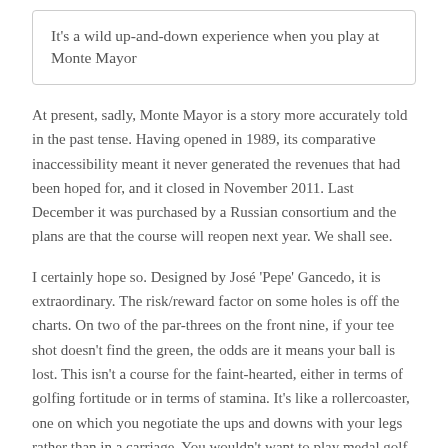It’s a wild up-and-down experience when you play at Monte Mayor
At present, sadly, Monte Mayor is a story more accurately told in the past tense. Having opened in 1989, its comparative inaccessibility meant it never generated the revenues that had been hoped for, and it closed in November 2011. Last December it was purchased by a Russian consortium and the plans are that the course will reopen next year. We shall see.
I certainly hope so. Designed by José ‘Pepe’ Gancedo, it is extraordinary. The risk/reward factor on some holes is off the charts. On two of the par-threes on the front nine, if your tee shot doesn’t find the green, the odds are it means your ball is lost. This isn’t a course for the faint-hearted, either in terms of golfing fortitude or in terms of stamina. It’s like a rollercoaster, one on which you negotiate the ups and downs with your legs rather than in a carriage. You wouldn’t want to play medal golf around it unless you are very good; don’t take your best golf balls but do take plenty of them.